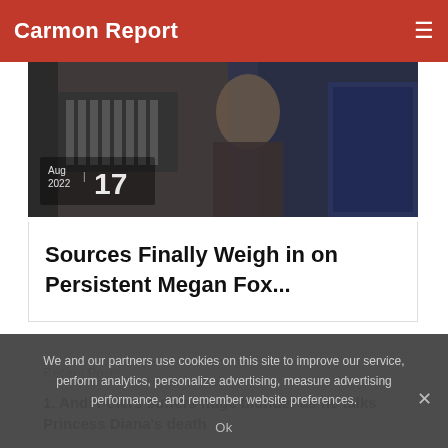Carmon Report
[Figure (photo): Dark photo showing a person, with date overlay reading Aug 2022 | 17]
Sources Finally Weigh in on Persistent Megan Fox...
Recent Posts
1. Andi Peters suffers huge blunder as he talks Princess Diana's death
We and our partners use cookies on this site to improve our service, perform analytics, personalize advertising, measure advertising performance, and remember website preferences.
Ok